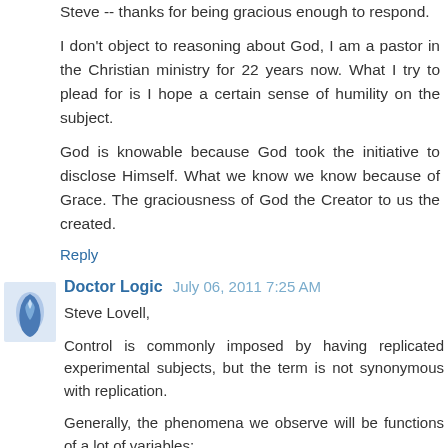Steve -- thanks for being gracious enough to respond.
I don't object to reasoning about God, I am a pastor in the Christian ministry for 22 years now. What I try to plead for is I hope a certain sense of humility on the subject.
God is knowable because God took the initiative to disclose Himself. What we know we know because of Grace. The graciousness of God the Creator to us the created.
Reply
Doctor Logic  July 06, 2011 7:25 AM
Steve Lovell,
Control is commonly imposed by having replicated experimental subjects, but the term is not synonymous with replication.
Generally, the phenomena we observe will be functions of a lot of variables: